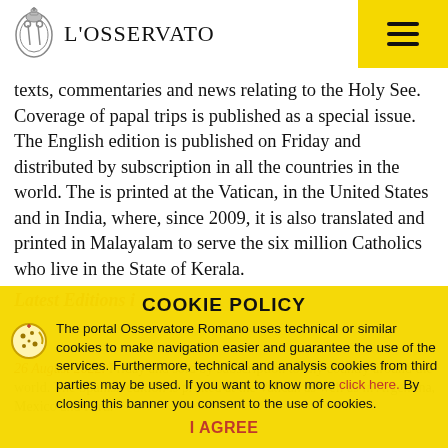L'OSSERVATORE ROMANO
texts, commentaries and news relating to the Holy See. Coverage of papal trips is published as a special issue. The English edition is published on Friday and distributed by subscription in all the countries in the world. The is printed at the Vatican, in the United States and in India, where, since 2009, it is also translated and printed in Malayalam to serve the six million Catholics who live in the State of Kerala.
[Figure (other): Cookie Policy overlay banner with yellow background. Title: COOKIE POLICY. Text: The portal Osservatore Romano uses technical or similar cookies to make navigation easier and guarantee the use of the services. Furthermore, technical and analysis cookies from third parties may be used. If you want to know more click here. By closing this banner you consent to the use of cookies. I AGREE button at the bottom.]